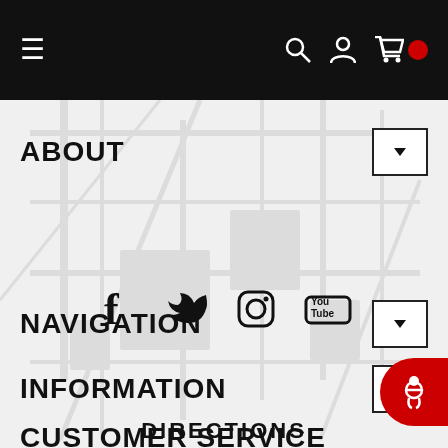Navigation bar with hamburger menu, search, user, and cart icons
ABOUT
[Figure (other): Social media icons row: Facebook, Twitter, Instagram, YouTube]
NAVIGATION
INFORMATION
CUSTOMER SERVICE
DIRECTIONS